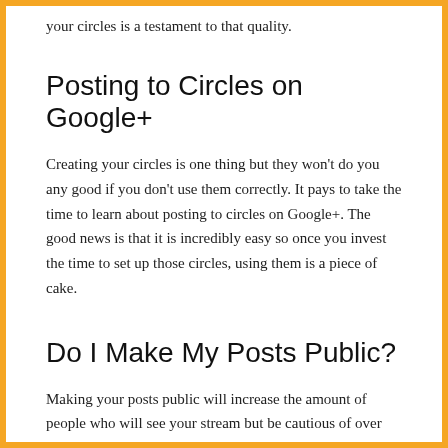your circles is a testament to that quality.
Posting to Circles on Google+
Creating your circles is one thing but they won't do you any good if you don't use them correctly. It pays to take the time to learn about posting to circles on Google+. The good news is that it is incredibly easy so once you invest the time to set up those circles, using them is a piece of cake.
Do I Make My Posts Public?
Making your posts public will increase the amount of people who will see your stream but be cautious of over sharing. You may